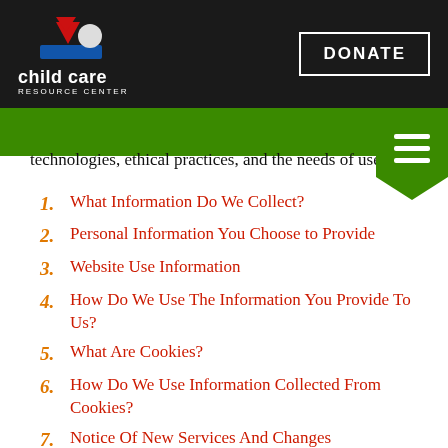Child Care Resource Center | DONATE
technologies, ethical practices, and the needs of users.
1. What Information Do We Collect?
2. Personal Information You Choose to Provide
3. Website Use Information
4. How Do We Use The Information You Provide To Us?
5. What Are Cookies?
6. How Do We Use Information Collected From Cookies?
7. Notice Of New Services And Changes
8. How Do We Secure Information Transmissions?
9. How Do We Protect Your Information?